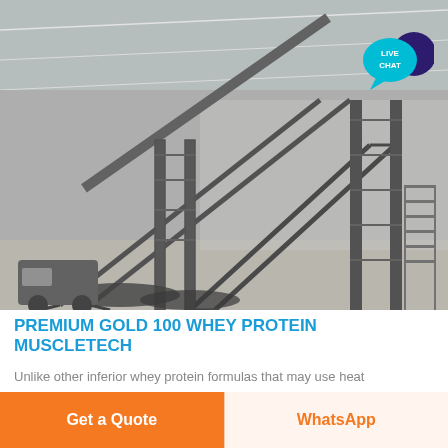[Figure (photo): Industrial factory interior with large conveyor belt systems and steel framework under a corrugated metal roof. Black and white / grayscale image. A 'LIVE CHAT' speech bubble icon is overlaid in the top-right corner of the image.]
PREMIUM GOLD 100 WHEY PROTEIN MuscleTech
Unlike other inferior whey protein formulas that may use heat
Get a Quote
WhatsApp